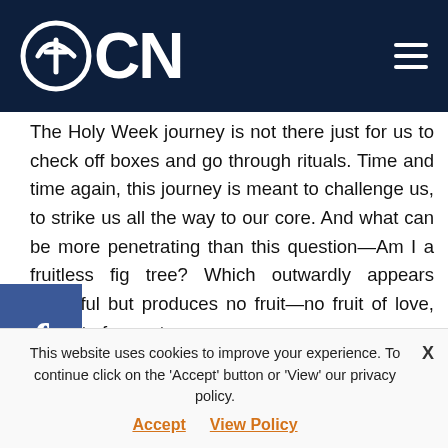OCN
The Holy Week journey is not there just for us to check off boxes and go through rituals. Time and time again, this journey is meant to challenge us, to strike us all the way to our core. And what can be more penetrating than this question—Am I a fruitless fig tree? Which outwardly appears beautiful but produces no fruit—no fruit of love, no fruit of repentance.
We know that there are several ingredients that help a tree bear fruit—sunlight, water, fertilizer, and regular exposure to these things. These are the same ingredients that help our
This website uses cookies to improve your experience. To continue click on the 'Accept' button or 'View' our privacy policy. Accept View Policy